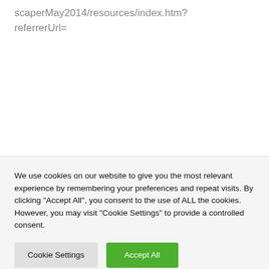scaperMay2014/resources/index.htm?referrerUrl=
We use cookies on our website to give you the most relevant experience by remembering your preferences and repeat visits. By clicking "Accept All", you consent to the use of ALL the cookies. However, you may visit "Cookie Settings" to provide a controlled consent.